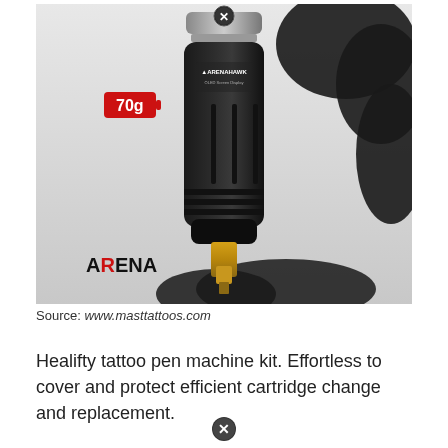[Figure (photo): A black tattoo pen machine (ARENAHAWK brand) being held by a gloved hand, with a '70g' weight label in red and battery icon overlay, and 'ARENA' branding in the lower left. The pen has a gold-tipped cartridge at the bottom.]
Source: www.masttattoos.com
Healifty tattoo pen machine kit. Effortless to cover and protect efficient cartridge change and replacement.